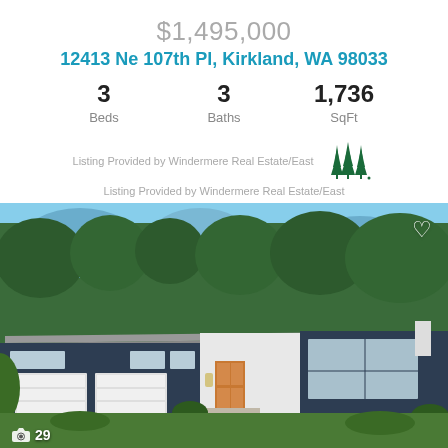$1,495,000
12413 Ne 107th Pl, Kirkland, WA 98033
3 Beds
3 Baths
1,736 SqFt
[Figure (logo): Windermere Real Estate pine tree logo (three green stylized trees)]
Listing Provided by Windermere Real Estate/East
[Figure (photo): Exterior photo of a modern mid-century ranch-style home with dark navy siding, white stucco accent sections, two-car white garage doors, large windows, orange wood front door, and lush green trees in background. Photo count badge shows camera icon and 29.]
$1,495,000